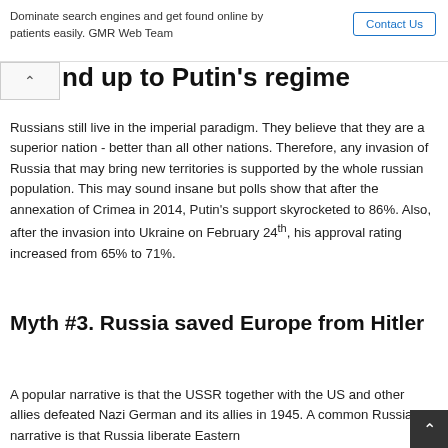Dominate search engines and get found online by patients easily. GMR Web Team
…nd up to Putin's regime
Russians still live in the imperial paradigm. They believe that they are a superior nation - better than all other nations. Therefore, any invasion of Russia that may bring new territories is supported by the whole russian population. This may sound insane but polls show that after the annexation of Crimea in 2014, Putin's support skyrocketed to 86%. Also, after the invasion into Ukraine on February 24th, his approval rating increased from 65% to 71%.
Myth #3. Russia saved Europe from Hitler
A popular narrative is that the USSR together with the US and other allies defeated Nazi German and its allies in 1945. A common Russian narrative is that Russia liberate Eastern